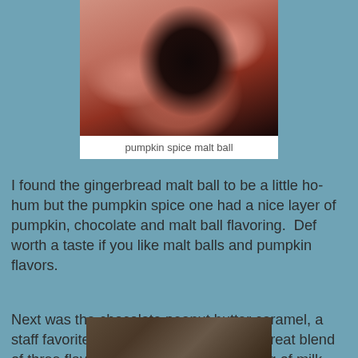[Figure (photo): Close-up photo of a pumpkin spice malt ball being held by fingers, showing dark chocolate exterior with orange filling visible]
pumpkin spice malt ball
I found the gingerbread malt ball to be a little ho-hum but the pumpkin spice one had a nice layer of pumpkin, chocolate and malt ball flavoring.  Def worth a taste if you like malt balls and pumpkin flavors.
Next was the chocolate peanut butter caramel, a staff favorite for good reason.  It was a great blend of three flavors involving an outer coating of milk chocolate, followed by a layer of peanut butter and then a chewy, caramel center which sort of glues all three flavors in your mouth for awhile while you chew it down.  It was so good that I went back inside (shame-be-damned!) to buy a bag of them.
[Figure (photo): Partial photo of chocolate peanut butter caramel candy, showing dark brown surface]